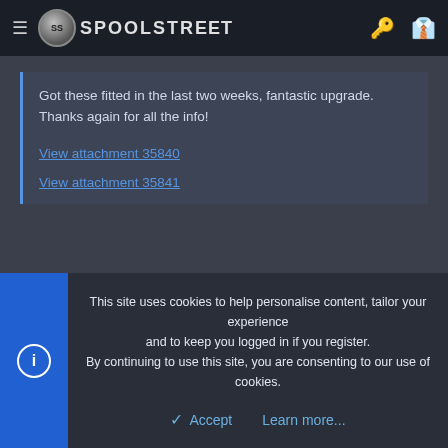SPOOLSTREET
Got these fitted in the last two weeks, fantastic upgrade. Thanks again for all the info!

View attachment 35840

View attachment 35841
That's great! Did you use the offset bush?
Which rotors?
This site uses cookies to help personalise content, tailor your experience and to keep you logged in if you register.
By continuing to use this site, you are consenting to our use of cookies.